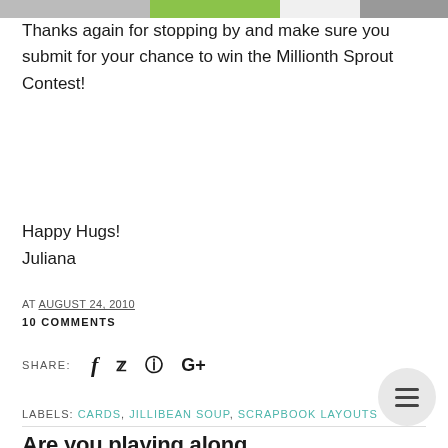[Figure (photo): Partial image strip at top of page showing scrapbook/craft materials in green, grey, and white tones]
Thanks again for stopping by and make sure you submit for your chance to win the Millionth Sprout Contest!
Happy Hugs!
Juliana
AT AUGUST 24, 2010
10 COMMENTS
SHARE: [Facebook] [Twitter] [Pinterest] [Google+]
LABELS: CARDS, JILLIBEAN SOUP, SCRAPBOOK LAYOUTS
Are you playing along